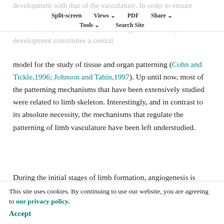development with that of the vasculature. In order to ensure coordinated gas exchange and nutrient supply(Cleaver and Melton, 2003; Coultas et al., 2005; Hogan et al., 2004) Limb development constitutes a central
Split-screen | Views | PDF | Share | Tools | Search Site
model for the study of tissue and organ patterning (Cohn and Tickle,1996; Johnson and Tabin,1997). Up until now, most of the patterning mechanisms that have been extensively studied were related to limb skeleton. Interestingly, and in contrast to its absolute necessity, the mechanisms that regulate the patterning of limb vasculature have been left understudied.
During the initial stages of limb formation, angiogenesis is
initiated as sprouts from the dorsal aorta invade the limb bud and form a vascular plexus which is embedded within the limb mesenchymal core(Seichert and Rychter, 1972a; Seichert and Rychter, 1972b). Concomitantly,
This site uses cookies. By continuing to use our website, you are agreeing to our privacy policy. Accept